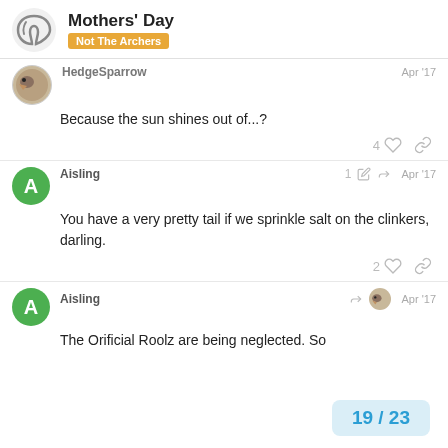Mothers' Day — Not The Archers
HedgeSparrow — Apr '17
Because the sun shines out of...?
4 likes
Aisling — 1 edit — Apr '17
You have a very pretty tail if we sprinkle salt on the clinkers, darling.
2 likes
Aisling — Apr '17
The Orificial Roolz are being neglected. So
19 / 23